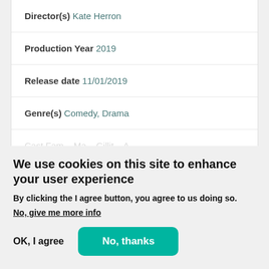Director(s) Kate Herron
Production Year 2019
Release date 11/01/2019
Genre(s) Comedy, Drama
Cast Fam...
We use cookies on this site to enhance your user experience
By clicking the I agree button, you agree to us doing so.
No, give me more info
OK, I agree
No, thanks